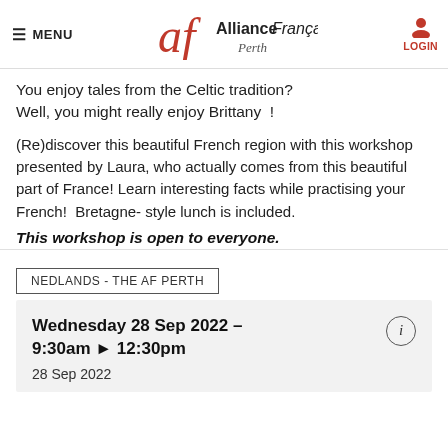MENU | Alliance Française Perth | LOGIN
You enjoy tales from the Celtic tradition? Well, you might really enjoy Brittany !
(Re)discover this beautiful French region with this workshop presented by Laura, who actually comes from this beautiful part of France! Learn interesting facts while practising your French! Bretagne- style lunch is included. This workshop is open to everyone.
NEDLANDS - THE AF PERTH
Wednesday 28 Sep 2022 – 9:30am ▶ 12:30pm
28 Sep 2022